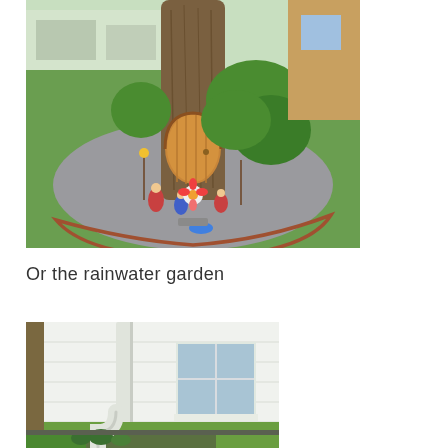[Figure (photo): A fairy garden scene built around the base of a large tree trunk. A rounded wooden door is set into the tree bark. The area around the tree is mulched with gravel, bordered by a curved brick edging, with large-leafed plants, small gnome figurines, decorative garden stakes, and flowers arranged around the door. Green grass surrounds the garden. A house and street are visible in the background.]
Or the rainwater garden
[Figure (photo): A white house exterior showing a downspout from the gutters leading down toward a garden bed at the foundation. A window is visible on the wall. Green grass and plants are near the foundation. The photo appears to show a rain garden or water management garden feature at the base of the house.]